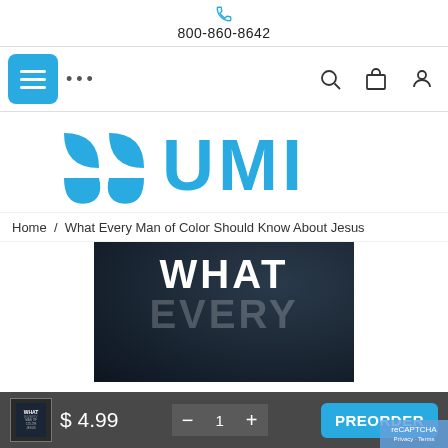800-860-8642
[Figure (logo): UMI logo in blue with shield-like icon and text UMI]
Home / What Every Man of Color Should Know About Jesus
[Figure (photo): Book cover for 'What Every Man of Color Should Know About Jesus' showing WHAT EVERY in large bold text on dark background]
$ 4.99
— 1 +
PREORDER